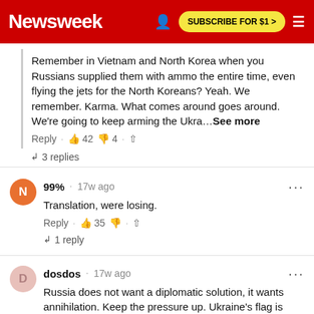Newsweek — SUBSCRIBE FOR $1 >
Remember in Vietnam and North Korea when you Russians supplied them with ammo the entire time, even flying the jets for the North Koreans? Yeah. We remember. Karma. What comes around goes around. We're going to keep arming the Ukra…See more
Reply · 👍 42 👎 4 · ⬆ · 3 replies
99% · 17w ago
Translation, were losing.
Reply · 👍 35 👎 · ⬆ · 1 reply
dosdos · 17w ago
Russia does not want a diplomatic solution, it wants annihilation. Keep the pressure up. Ukraine's flag is…